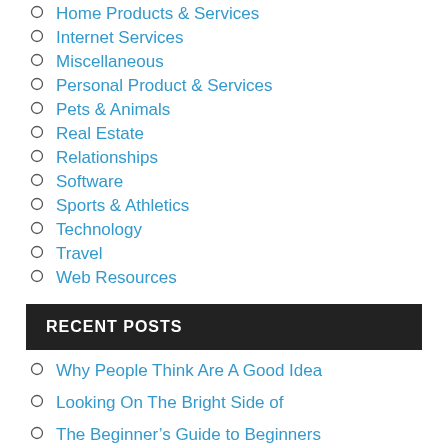Home Products & Services
Internet Services
Miscellaneous
Personal Product & Services
Pets & Animals
Real Estate
Relationships
Software
Sports & Athletics
Technology
Travel
Web Resources
RECENT POSTS
Why People Think Are A Good Idea
Looking On The Bright Side of
The Beginner's Guide to Beginners